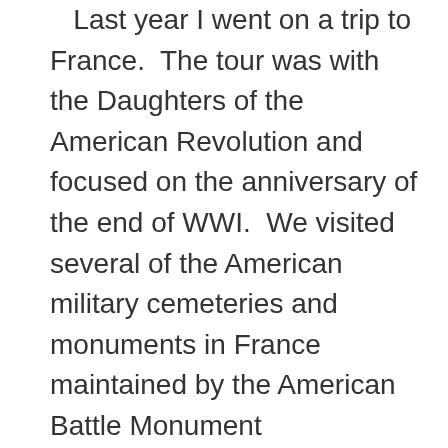Last year I went on a trip to France.  The tour was with the Daughters of the American Revolution and focused on the anniversary of the end of WWI.  We visited several of the American military cemeteries and monuments in France maintained by the American Battle Monument Commission.  These cemeteries are beautifully cared ...
Continue reading →
Categories: cashmere, Sweater Blankets • Tags: cashmere, cashmere blanket, cashmere sweater, recycled